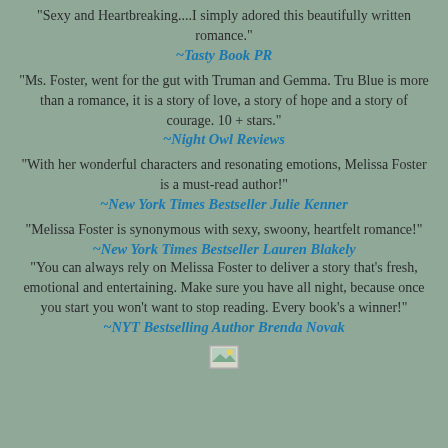"Sexy and Heartbreaking....I simply adored this beautifully written romance."
~Tasty Book PR
"Ms. Foster, went for the gut with Truman and Gemma. Tru Blue is more than a romance, it is a story of love, a story of hope and a story of courage. 10 + stars."
~Night Owl Reviews
"With her wonderful characters and resonating emotions, Melissa Foster is a must-read author!"
~New York Times Bestseller Julie Kenner
"Melissa Foster is synonymous with sexy, swoony, heartfelt romance!"
~New York Times Bestseller Lauren Blakely
"You can always rely on Melissa Foster to deliver a story that's fresh, emotional and entertaining. Make sure you have all night, because once you start you won't want to stop reading. Every book's a winner!"
~NYT Bestselling Author Brenda Novak
[Figure (illustration): Small landscape thumbnail image icon]